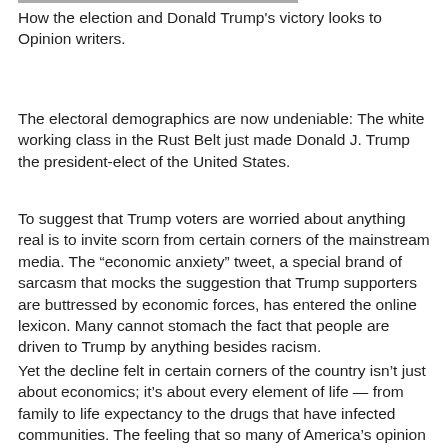How the election and Donald Trump's victory looks to Opinion writers.
The electoral demographics are now undeniable: The white working class in the Rust Belt just made Donald J. Trump the president-elect of the United States.
To suggest that Trump voters are worried about anything real is to invite scorn from certain corners of the mainstream media. The “economic anxiety” tweet, a special brand of sarcasm that mocks the suggestion that Trump supporters are buttressed by economic forces, has entered the online lexicon. Many cannot stomach the fact that people are driven to Trump by anything besides racism.
Yet the decline felt in certain corners of the country isn’t just about economics; it’s about every element of life — from family to life expectancy to the drugs that have infected communities. The feeling that so many of America’s opinion leaders see your concerns as the product of stupidity at best